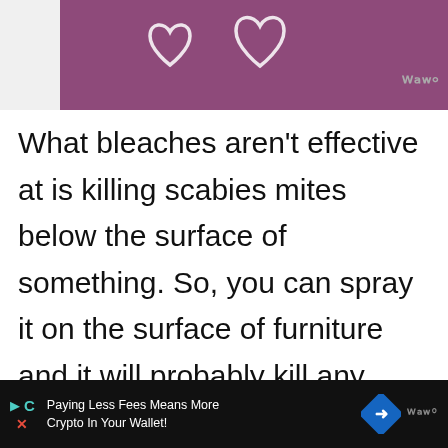[Figure (photo): Partial view of a dog near a purple background with heart outlines, dog wearing a teal collar, image cropped at top]
What bleaches aren't effective at is killing scabies mites below the surface of something. So, you can spray it on the surface of furniture and it will probably kill any mites there. But if the mites are below the surface — say a fabric-covered couch — you might not get all of them.
Paying Less Fees Means More Crypto In Your Wallet!